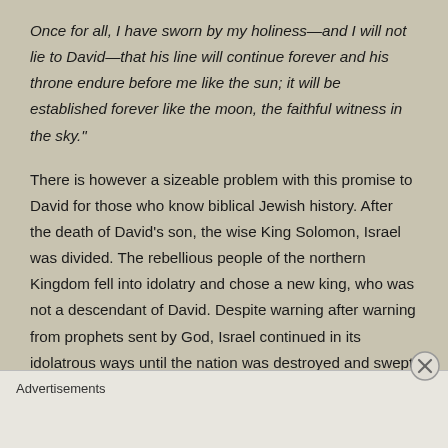Once for all, I have sworn by my holiness—and I will not lie to David—that his line will continue forever and his throne endure before me like the sun; it will be established forever like the moon, the faithful witness in the sky."
There is however a sizeable problem with this promise to David for those who know biblical Jewish history. After the death of David's son, the wise King Solomon, Israel was divided. The rebellious people of the northern Kingdom fell into idolatry and chose a new king, who was not a descendant of David. Despite warning after warning from prophets sent by God, Israel continued in its idolatrous ways until the nation was destroyed and swept away by Assyrian invaders in 720 BC.
Advertisements